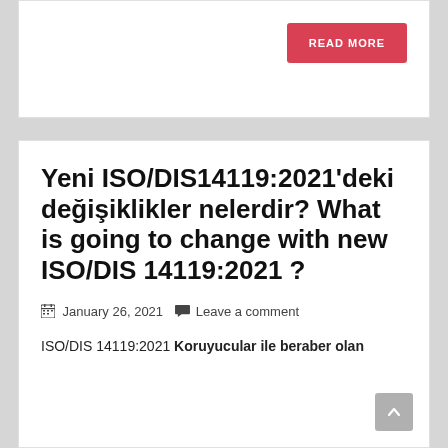[Figure (screenshot): Top white card with a red READ MORE button on the right side]
Yeni ISO/DIS14119:2021'deki değişiklikler nelerdir? What is going to change with new ISO/DIS 14119:2021 ?
January 26, 2021   Leave a comment
ISO/DIS 14119:2021 Koruyucular ile beraber olan